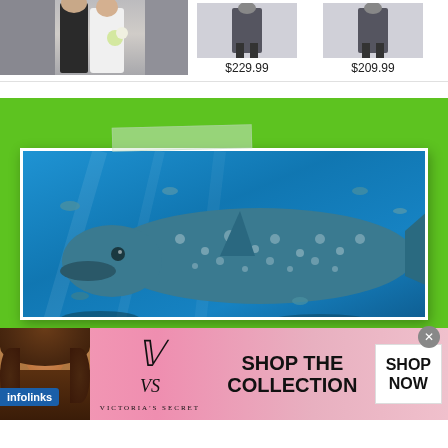[Figure (photo): Partial view of product listing page showing a wedding couple photo on the left, and two clothing items with prices $229.99 and $209.99 on the right]
[Figure (photo): An advertisement with green background showing a large photo of a whale shark swimming in an aquarium (blue water, spotted whale shark), with a tape strip effect overlay]
We use cookies on our website to give you the most relevant experience by remembering your preferences and repeat visits. By clicking “Accept”, you consent to the use
[Figure (photo): Victoria's Secret advertisement banner with pink/coral gradient background, featuring a female model with curly hair on the left, Victoria's Secret logo in center, text 'SHOP THE COLLECTION' and a white 'SHOP NOW' button on the right]
infolinks